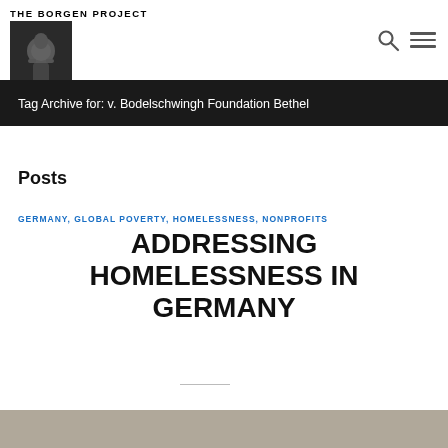THE BORGEN PROJECT
Tag Archive for: v. Bodelschwingh Foundation Bethel
Posts
GERMANY, GLOBAL POVERTY, HOMELESSNESS, NONPROFITS
ADDRESSING HOMELESSNESS IN GERMANY
[Figure (photo): Partial image at bottom of page, appears to be a street or building scene]